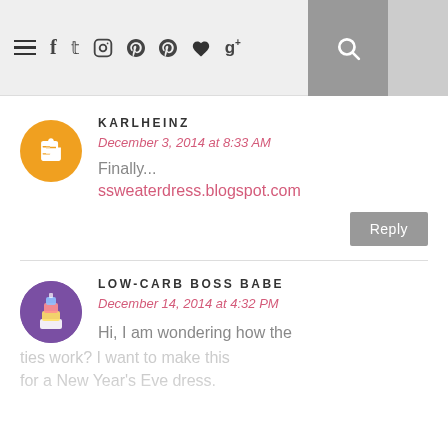Navigation bar with menu, social icons (Facebook, Twitter, Instagram, Pinterest, Pinterest, heart, Google+) and search
KARLHEINZ
December 3, 2014 at 8:33 AM
Finally...
ssweaterdress.blogspot.com
Reply
LOW-CARB BOSS BABE
December 14, 2014 at 4:32 PM
Hi, I am wondering how the ties work? I want to make this for a New Year's Eve dress.